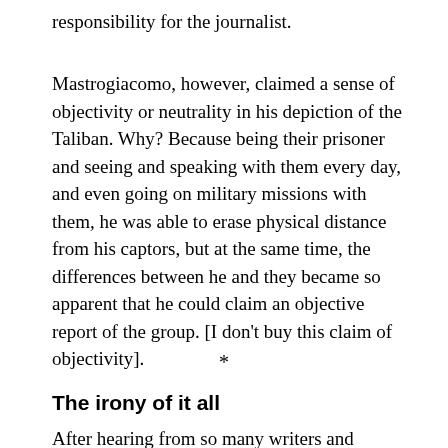responsibility for the journalist.
Mastrogiacomo, however, claimed a sense of objectivity or neutrality in his depiction of the Taliban. Why? Because being their prisoner and seeing and speaking with them every day, and even going on military missions with them, he was able to erase physical distance from his captors, but at the same time, the differences between he and they became so apparent that he could claim an objective report of the group. [I don't buy this claim of objectivity].
*
The irony of it all
After hearing from so many writers and journalists